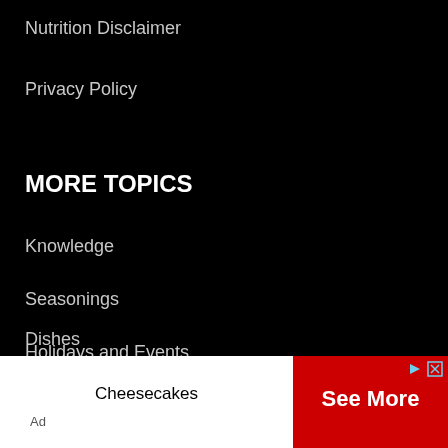Nutrition Disclaimer
Privacy Policy
MORE TOPICS
Knowledge
Seasonings
Holidays and Events
Substitutes
Dishes
[Figure (other): Advertisement banner with 'Cheesecakes' text on white background left side and red 'See More' button on right side, with Ad label and share/close icons]